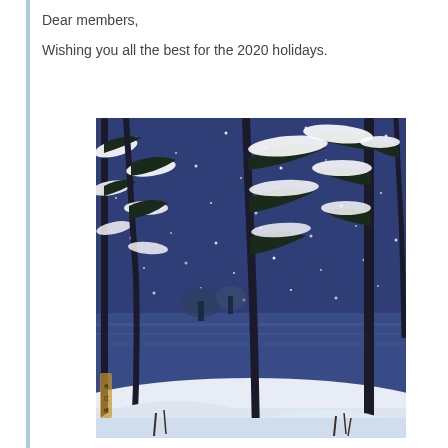Dear members,
Wishing you all the best for the 2020 holidays.
[Figure (illustration): Japanese woodblock-style winter print showing snow-covered pine trees at night with a dark blue sky filled with snowflakes, a body of water in the background, and white snow on the ground.]